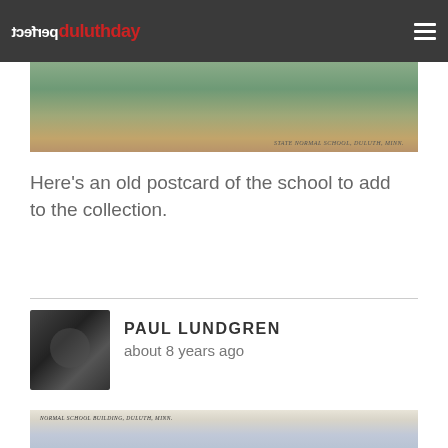perfectduluthday
[Figure (photo): Old postcard photograph of State Normal School, Duluth, Minn. showing a field/lawn area with buildings in the background]
Here's an old postcard of the school to add to the collection.
PAUL LUNDGREN
about 8 years ago
[Figure (photo): Old postcard of Normal School Building, Duluth, Minn. showing a building with cloudy sky]